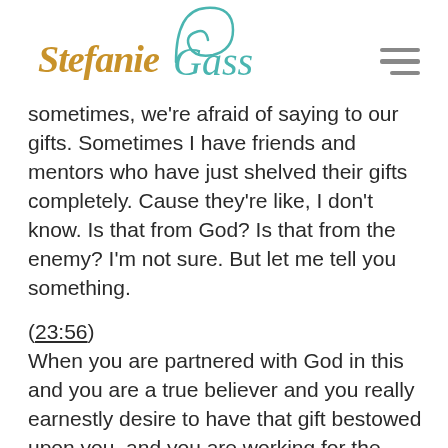Stefanie Gass
sometimes, we're afraid of saying to our gifts. Sometimes I have friends and mentors who have just shelved their gifts completely. Cause they're like, I don't know. Is that from God? Is that from the enemy? I'm not sure. But let me tell you something.
(23:56) When you are partnered with God in this and you are a true believer and you really earnestly desire to have that gift bestowed upon you, and you are working for the